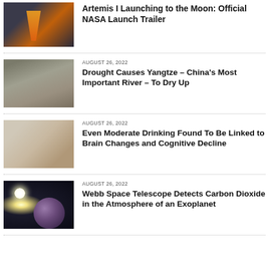[Figure (photo): Rocket launch at night with fire and exhaust]
Artemis I Launching to the Moon: Official NASA Launch Trailer
AUGUST 26, 2022
[Figure (photo): Dried cracked earth or dried riverbed texture]
Drought Causes Yangtze – China's Most Important River – To Dry Up
AUGUST 26, 2022
[Figure (photo): Person sitting with head in hands, appearing stressed]
Even Moderate Drinking Found To Be Linked to Brain Changes and Cognitive Decline
AUGUST 26, 2022
[Figure (photo): Planet with atmosphere silhouetted against a star in space]
Webb Space Telescope Detects Carbon Dioxide in the Atmosphere of an Exoplanet